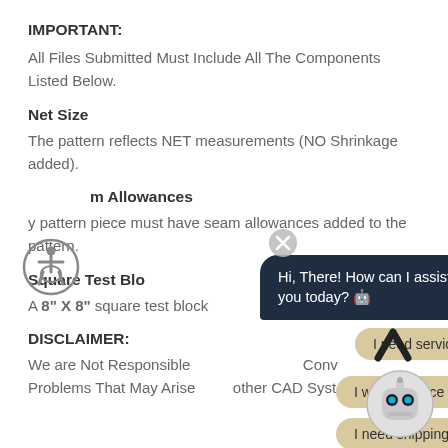IMPORTANT:
All Files Submitted Must Include All The Components Listed Below.
Net Size
The pattern reflects NET measurements (NO Shrinkage added).
Seam Allowances
Every pattern piece must have seam allowances added to the pattern.
Square Test Block
A 8" X 8" square test block with all seam allowances.
DISCLAIMER:
We are Not Responsible For Troubleshooting Compatibility Problems That May Arise With Other CAD Systems.
[Figure (screenshot): Chat widget overlay with dark bubble saying 'Hi, There! How can I assist you today?' and three tan option buttons: 'I need service price', 'I want to place an order', 'I need shipping address'. Also shows accessibility icon and robot avatar.]